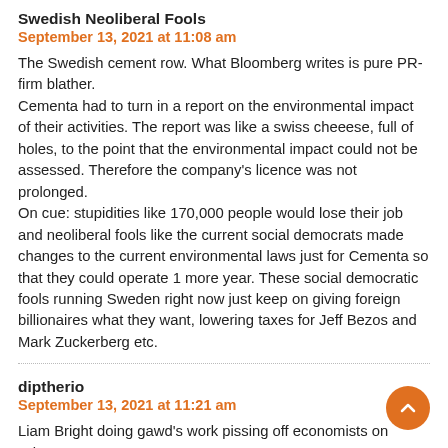Swedish Neoliberal Fools
September 13, 2021 at 11:08 am
The Swedish cement row. What Bloomberg writes is pure PR-firm blather.
Cementa had to turn in a report on the environmental impact of their activities. The report was like a swiss cheeese, full of holes, to the point that the environmental impact could not be assessed. Therefore the company's licence was not prolonged.
On cue: stupidities like 170,000 people would lose their job and neoliberal fools like the current social democrats made changes to the current environmental laws just for Cementa so that they could operate 1 more year. These social democratic fools running Sweden right now just keep on giving foreign billionaires what they want, lowering taxes for Jeff Bezos and Mark Zuckerberg etc.
diptherio
September 13, 2021 at 11:21 am
Liam Bright doing gawd's work pissing off economists on twitter:
Seeing economists on my timeline argue about what